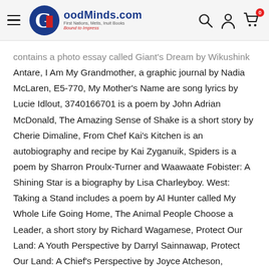GoodMinds.com — First Nations, Metis, Inuit Books. Bound to Impress.
contains a photo essay called Giant's Dream by Wikushink Antare, I Am My Grandmother, a graphic journal by Nadia McLaren, E5-770, My Mother's Name are song lyrics by Lucie Idlout, 3740166701 is a poem by John Adrian McDonald, The Amazing Sense of Shake is a short story by Cherie Dimaline, From Chef Kai's Kitchen is an autobiography and recipe by Kai Zyganuik, Spiders is a poem by Sharron Proulx-Turner and Waawaate Fobister: A Shining Star is a biography by Lisa Charleyboy. West: Taking a Stand includes a poem by Al Hunter called My Whole Life Going Home, The Animal People Choose a Leader, a short story by Richard Wagamese, Protect Our Land: A Youth Perspective by Darryl Sainnawap, Protect Our Land: A Chief's Perspective by Joyce Atcheson,